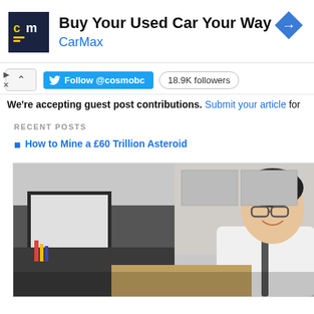[Figure (screenshot): CarMax advertisement banner with logo, headline 'Buy Your Used Car Your Way', brand name 'CarMax', and a blue diamond navigation icon]
Follow @cosmobc  18.9K followers
We're accepting guest post contributions. Submit your article for
RECENT POSTS
How to Mine a £60 Trillion Asteroid
[Figure (photo): A smiling young Asian man wearing glasses, white dress shirt and dark tie, sitting at a desk with a computer monitor in an office setting]